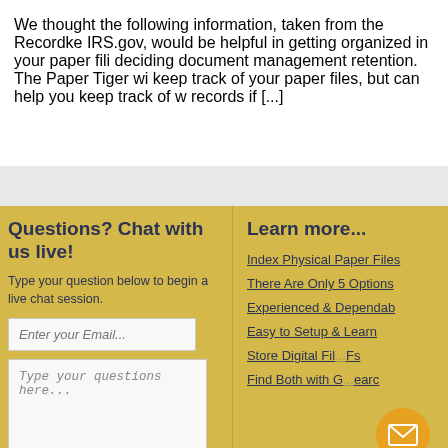We thought the following information, taken from the Recordke IRS.gov, would be helpful in getting organized in your paper fili deciding document management retention. The Paper Tiger wi keep track of your paper files, but can help you keep track of w records if [...]
Questions? Chat with us live!
Type your question below to begin a live chat session.
Learn more...
Index Physical Paper Files
There Are Only 5 Options
Experienced & Dependab
Easy to Setup & Learn
Store Digital Fil... Fs
Find Both with G... earc